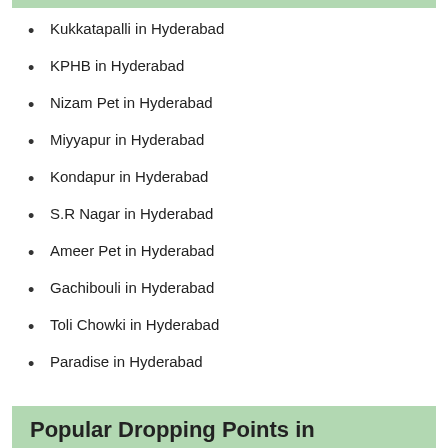Kukkatapalli in Hyderabad
KPHB in Hyderabad
Nizam Pet in Hyderabad
Miyyapur in Hyderabad
Kondapur in Hyderabad
S.R Nagar in Hyderabad
Ameer Pet in Hyderabad
Gachibouli in Hyderabad
Toli Chowki in Hyderabad
Paradise in Hyderabad
Popular Dropping Points in Hyderabad
Lakdikapool in Hyderabad
Mehdipatnam in Hyderabad
Tolichowki in Hyderabad
Gachibowli in Hyderabad
Kondapur in Hyderabad